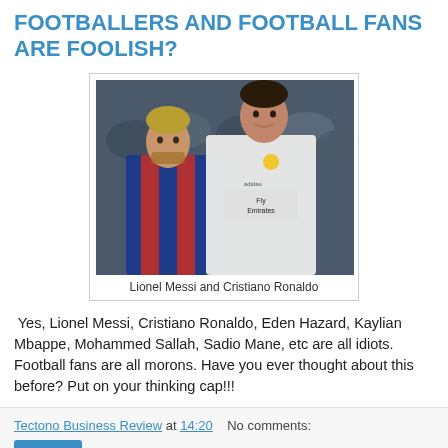FOOTBALLERS AND FOOTBALL FANS ARE FOOLISH?
[Figure (photo): Photo of Lionel Messi and Cristiano Ronaldo standing together, Messi in Barcelona blue/red kit, Ronaldo in Real Madrid white Fly Emirates kit]
Lionel Messi and Cristiano Ronaldo
Yes, Lionel Messi, Cristiano Ronaldo, Eden Hazard, Kaylian Mbappe, Mohammed Sallah, Sadio Mane, etc are all idiots. Football fans are all morons. Have you ever thought about this before? Put on your thinking cap!!!
Tectono Business Review at 14:20   No comments:   Share